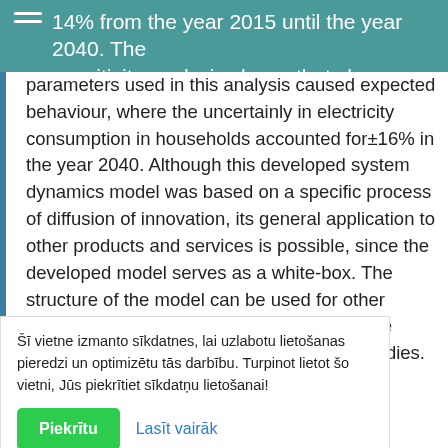14% from the year 2015 until the year 2040. The sensitivity analysis shows that changes in the parameters used in this analysis caused expected behaviour, where the uncertainly in electricity consumption in households accounted for±16% in the year 2040. Although this developed system dynamics model was based on a specific process of diffusion of innovation, its general application to other products and services is possible, since the developed model serves as a white-box. The structure of the model can be used for other studies; the model can be enhanced with the newest results or adapted for other case studies.
Šī vietne izmanto sīkdatnes, lai uzlabotu lietošanas pieredzi un optimizētu tās darbību. Turpinot lietot šo vietni, Jūs piekrītiet sīkdatņu lietošanai!
Piektītu   Lasīt vairāk
efficiency | Lighting
Modelling | System dynamics
DOI
10.1016/j.enpol.2017.07.030